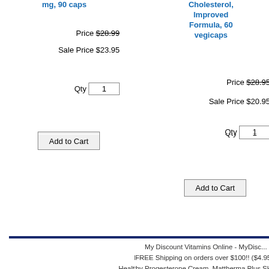mg, 90 caps
Price $28.99
Sale Price $23.95
Qty 1
Add to Cart
Cholesterol, Improved Formula, 60 vegicaps
Price $28.95
Sale Price $20.95
Qty 1
Add to Cart
Cream, 4 oz
Price $49.
Sale Price $33.
Qty 1
Add to Cart
My Discount Vitamins Online - MyDisc...
FREE Shipping on orders over $100!! ($4.95...
Healthy Progesterone Cream, Mattherma Plus Skin He...
Natural Progesterone Gel, Z Care Sp...
Discount Vitamins, Discount Minerals...
Home | Products | Alphabetical Products Index | Amino Acids | Am...
Joint Support | Children's Supplements | Cholesterol Reduction | D...
Other Supplerments | Male Health and Longevity | Memory and...
SMOKE-AWAY Herbal Quit Smoking | Sport's Nutrition | Tea Tr...
Women's Health | About Us | Contact Us | Shipping / Return Polic...
Sites | Online Shopping Malls | link | link1 | link2 | link3
Copyright © 2005-2022 MyDiscountVitamins...
Designated trademarks and brands are the pro...
FREE Shipping on orders
Disclaimer - Statements on this site have not been... Administration (FDA). Not all of these products... products are not intended to diagnose, prevent, t... consult a qualified healthcare practitioner for n...